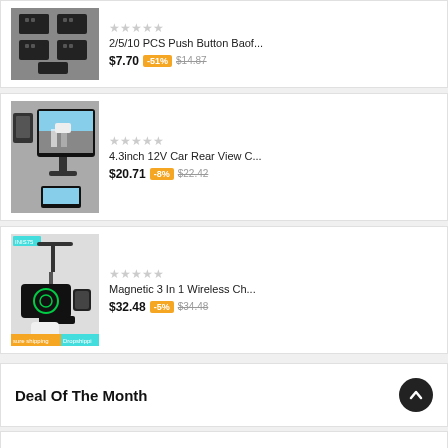[Figure (screenshot): Product image for push button item - dark electronic components grid]
2/5/10 PCS Push Button Baof...
$7.70 -51% $14.87
[Figure (screenshot): Product image for car rear view camera with monitor]
4.3inch 12V Car Rear View C...
$20.71 -8% $22.42
[Figure (screenshot): Product image for magnetic 3-in-1 wireless charger stand]
Magnetic 3 In 1 Wireless Ch...
$32.48 -5% $34.48
Deal Of The Month